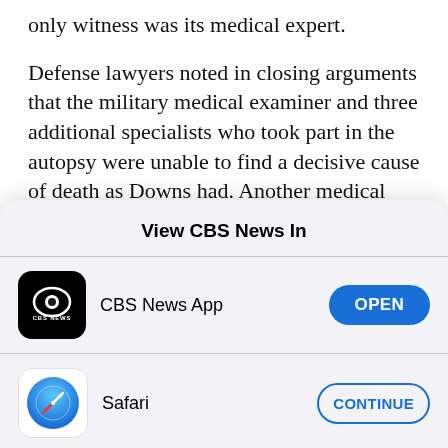only witness was its medical expert.
Defense lawyers noted in closing arguments that the military medical examiner and three additional specialists who took part in the autopsy were unable to find a decisive cause of death as Downs had. Another medical expert called by the defense said it was more likely Deirdre Aguigui suffered a sudden heart attack, though prosecutors insisted his diagnosis was based on a faulty reading of her
View CBS News In
[Figure (logo): CBS News app icon - black square with CBS eye logo and CBS NEWS text]
CBS News App
OPEN
[Figure (logo): Safari browser icon - blue circle with compass/arrow design]
Safari
CONTINUE